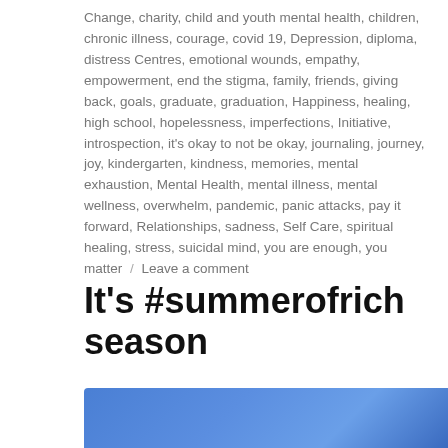Change, charity, child and youth mental health, children, chronic illness, courage, covid 19, Depression, diploma, distress Centres, emotional wounds, empathy, empowerment, end the stigma, family, friends, giving back, goals, graduate, graduation, Happiness, healing, high school, hopelessness, imperfections, Initiative, introspection, it's okay to not be okay, journaling, journey, joy, kindergarten, kindness, memories, mental exhaustion, Mental Health, mental illness, mental wellness, overwhelm, pandemic, panic attacks, pay it forward, Relationships, sadness, Self Care, spiritual healing, stress, suicidal mind, you are enough, you matter / Leave a comment
It's #summerofrich season
[Figure (illustration): Blue gradient rectangle image, partial view at bottom of page]